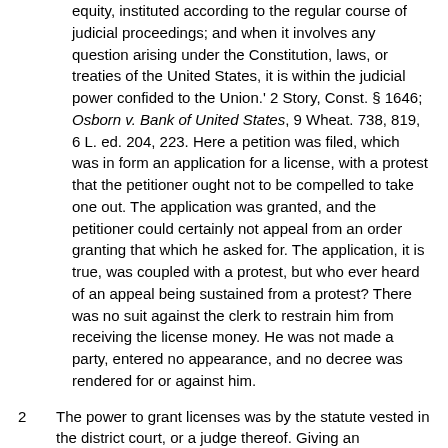equity, instituted according to the regular course of judicial proceedings; and when it involves any question arising under the Constitution, laws, or treaties of the United States, it is within the judicial power confided to the Union.' 2 Story, Const. § 1646; Osborn v. Bank of United States, 9 Wheat. 738, 819, 6 L. ed. 204, 223. Here a petition was filed, which was in form an application for a license, with a protest that the petitioner ought not to be compelled to take one out. The application was granted, and the petitioner could certainly not appeal from an order granting that which he asked for. The application, it is true, was coupled with a protest, but who ever heard of an appeal being sustained from a protest? There was no suit against the clerk to restrain him from receiving the license money. He was not made a party, entered no appearance, and no decree was rendered for or against him.
The power to grant licenses was by the statute vested in the district court, or a judge thereof. Giving an interpretation to the petition the most favorable to the petitioner, it was an application to a tribunal having judicial functions to restrain itself from the discharge of administrative duties. It is contended that the nature of the proceeding is not changed by uniting judicial functions and administrative duties in the same tribunal; that it is the same as though such functions and duties were exercised by different bodies